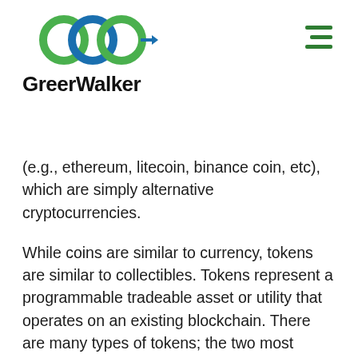[Figure (logo): GreerWalker logo: three interlocking circles in green and blue above the text 'GreerWalker' in bold black]
(e.g., ethereum, litecoin, binance coin, etc), which are simply alternative cryptocurrencies.
While coins are similar to currency, tokens are similar to collectibles. Tokens represent a programmable tradeable asset or utility that operates on an existing blockchain. There are many types of tokens; the two most common are utility tokens and security tokens.
Non-fungible tokens (NFTs) are unique tokens that exist on a blockchain and are designed to hold special value, usually in a digital asset, such as works of art, photographs, or musical pieces. NFTs can also hold physical assets, such as a deed, event tickets, or more. In 2021, the popularity of NFTs exploded in